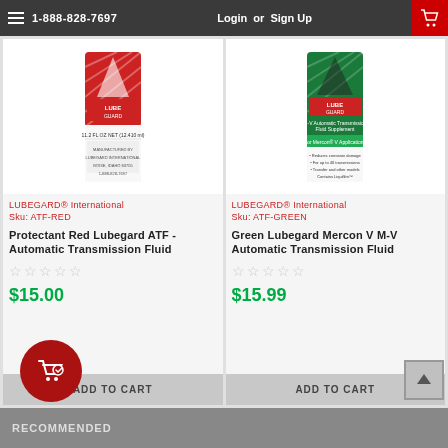1-888-828-7697   Login or Sign Up
[Figure (photo): Red LUBEGARD ATF product bottle]
LUBEGARD® International
Sku: ATF-RED
Protectant Red Lubegard ATF - Automatic Transmission Fluid
$15.00
[Figure (photo): Green LUBEGARD Mercon V ATF product bottle]
LUBEGARD® International
Sku: ATF-GREEN
Green Lubegard Mercon V M-V Automatic Transmission Fluid
$15.99